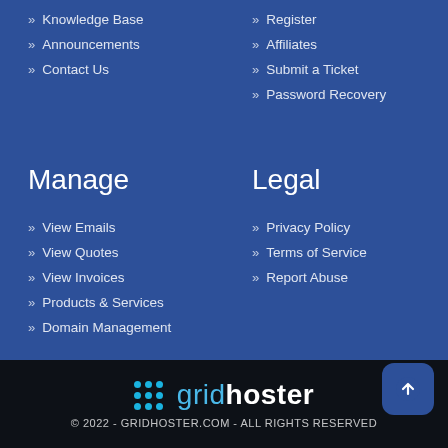Knowledge Base
Announcements
Contact Us
Register
Affiliates
Submit a Ticket
Password Recovery
Manage
Legal
View Emails
View Quotes
View Invoices
Products & Services
Domain Management
Privacy Policy
Terms of Service
Report Abuse
gridhoster © 2022 - GRIDHOSTER.COM - ALL RIGHTS RESERVED